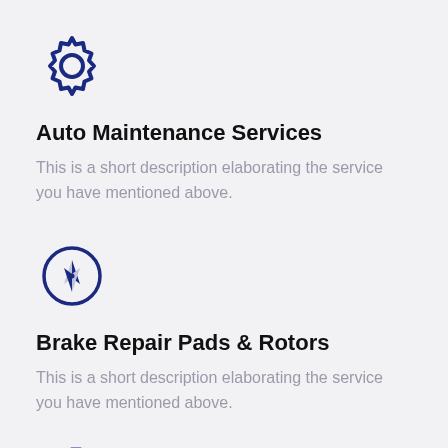[Figure (illustration): Dark blue gear/settings icon]
Auto Maintenance Services
This is a short description elaborating the service you have mentioned above.
[Figure (illustration): Dark blue compass/navigation icon inside a circle]
Brake Repair Pads & Rotors
This is a short description elaborating the service you have mentioned above.
[Figure (illustration): Dark blue network/hierarchy icon (partially visible at bottom)]